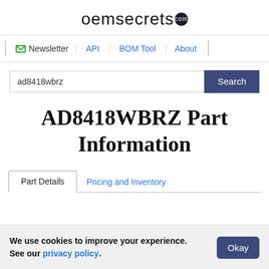oemsecrets.com
Newsletter | API | BOM Tool | About
ad8418wbrz  Search
AD8418WBRZ Part Information
Part Details   Pricing and Inventory
We use cookies to improve your experience. See our privacy policy.  Okay